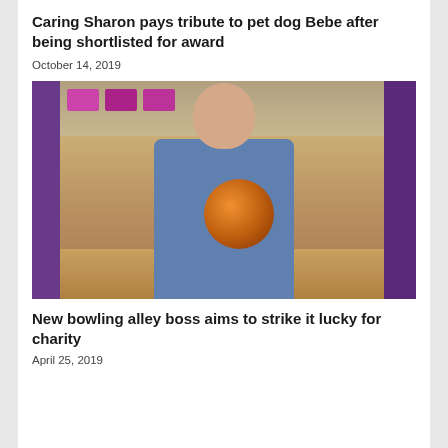Caring Sharon pays tribute to pet dog Bebe after being shortlisted for award
October 14, 2019
[Figure (photo): Man in blue shirt holding an orange bowling ball inside a bowling alley with purple decor and screens in background]
New bowling alley boss aims to strike it lucky for charity
April 25, 2019